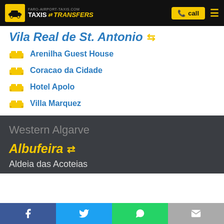FARO-AIRPORT-TAXIS.COM TAXIS & TRANSFERS
Vila Real de St. Antonio
Arenilha Guest House
Coracao da Cidade
Hotel Apolo
Villa Marquez
Western Algarve
Albufeira
Aldeia das Acoteias